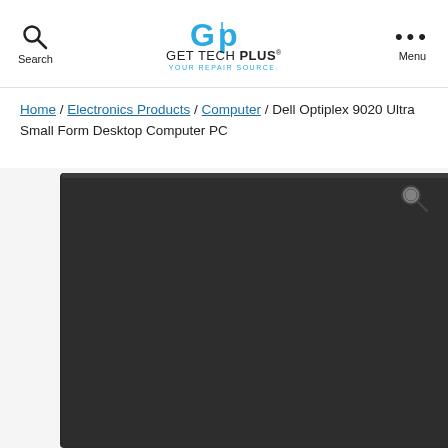Search | GET TECH PLUS YOUR REPAIR SOURCE. | Menu
Home / Electronics Products / Computer / Dell Optiplex 9020 Ultra Small Form Desktop Computer PC
[Figure (photo): Dell Optiplex 9020 Ultra Small Form Desktop Computer PC shown from a close-up front-right angle with a pencil for size reference]